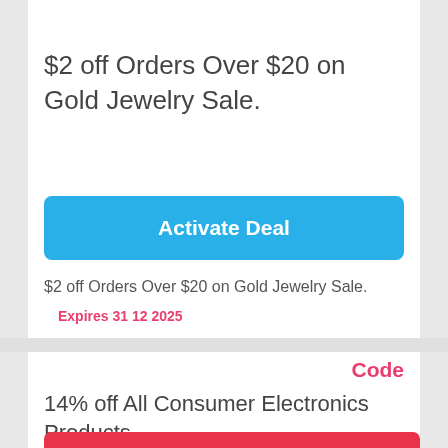$2 off Orders Over $20 on Gold Jewelry Sale.
Activate Deal
$2 off Orders Over $20 on Gold Jewelry Sale.
Expires 31 12 2025
Code
14% off All Consumer Electronics Products.
Show Coupon  BCE